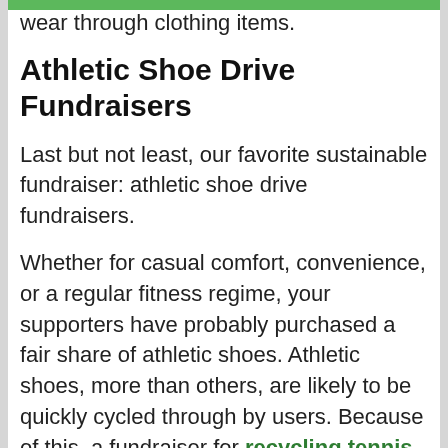wear through clothing items.
Athletic Shoe Drive Fundraisers
Last but not least, our favorite sustainable fundraiser: athletic shoe drive fundraisers.
Whether for casual comfort, convenience, or a regular fitness regime, your supporters have probably purchased a fair share of athletic shoes. Athletic shoes, more than others, are likely to be quickly cycled through by users. Because of this, a fundraiser for recycling tennis shoes is an excellent option for your